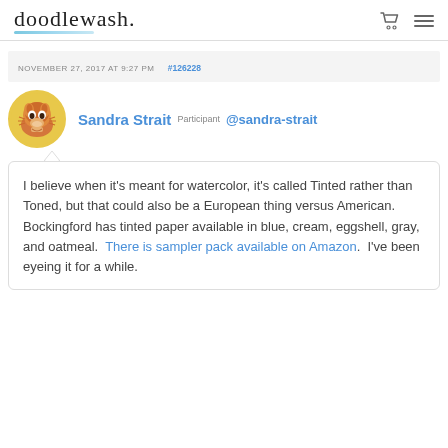doodlewash.
NOVEMBER 27, 2017 AT 9:27 PM  #126228
Sandra Strait  Participant @sandra-strait
I believe when it's meant for watercolor, it's called Tinted rather than Toned, but that could also be a European thing versus American.  Bockingford has tinted paper available in blue, cream, eggshell, gray, and oatmeal.  There is sampler pack available on Amazon.  I've been eyeing it for a while.